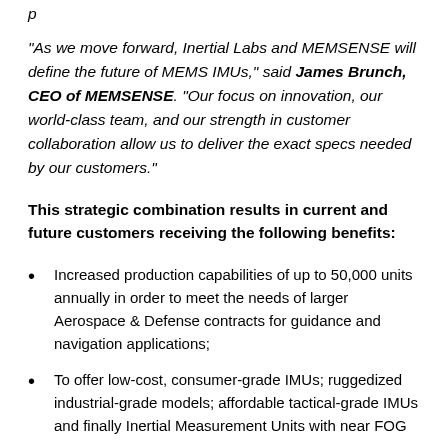“As we move forward, Inertial Labs and MEMSENSE will define the future of MEMS IMUs,” said James Brunch, CEO of MEMSENSE. “Our focus on innovation, our world-class team, and our strength in customer collaboration allow us to deliver the exact specs needed by our customers.”
This strategic combination results in current and future customers receiving the following benefits:
Increased production capabilities of up to 50,000 units annually in order to meet the needs of larger Aerospace & Defense contracts for guidance and navigation applications;
To offer low-cost, consumer-grade IMUs; ruggedized industrial-grade models; affordable tactical-grade IMUs and finally Inertial Measurement Units with near FOG